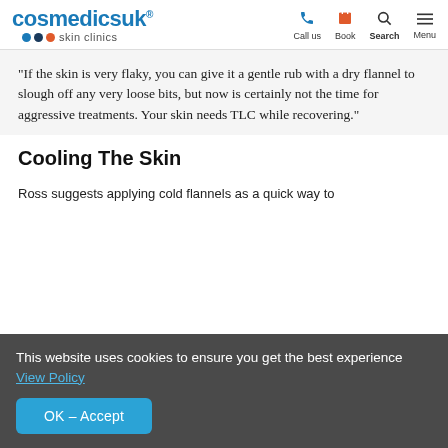[Figure (logo): Cosmedics UK skin clinics logo with blue text and coloured dots]
"If the skin is very flaky, you can give it a gentle rub with a dry flannel to slough off any very loose bits, but now is certainly not the time for aggressive treatments. Your skin needs TLC while recovering."
Cooling The Skin
Ross suggests applying cold flannels as a quick way to
This website uses cookies to ensure you get the best experience View Policy
OK – Accept